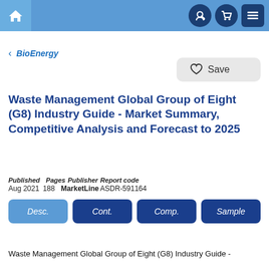Navigation bar with home, login, cart, and menu icons
< BioEnergy
Save
Waste Management Global Group of Eight (G8) Industry Guide - Market Summary, Competitive Analysis and Forecast to 2025
Published Aug 2021  Pages 188  Publisher MarketLine  Report code ASDR-591164
Desc.  Cont.  Comp.  Sample
Waste Management Global Group of Eight (G8) Industry Guide -